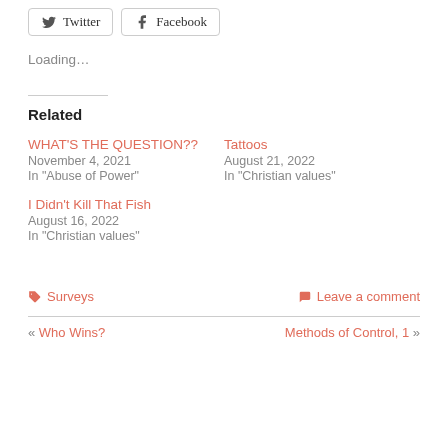Twitter  Facebook (share buttons)
Loading...
Related
WHAT'S THE QUESTION??
November 4, 2021
In "Abuse of Power"
Tattoos
August 21, 2022
In "Christian values"
I Didn't Kill That Fish
August 16, 2022
In "Christian values"
Surveys   Leave a comment
« Who Wins?   Methods of Control, 1 »